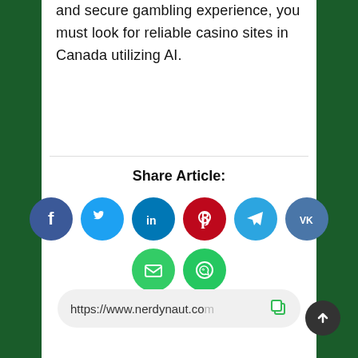and secure gambling experience, you must look for reliable casino sites in Canada utilizing AI.
Share Article:
[Figure (infographic): Social media share buttons: Facebook (blue), Twitter (light blue), LinkedIn (blue), Pinterest (red), Telegram (blue), VK (steel blue), Email (green), WhatsApp (green)]
https://www.nerdynaut.com